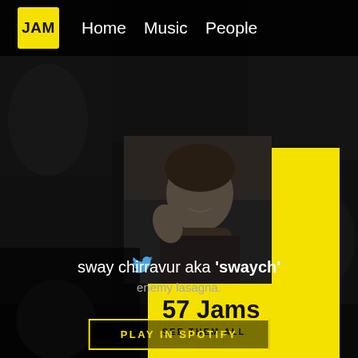[Figure (logo): JAM logo - yellow square with black text 'JAM']
Home  Music  People
[Figure (photo): Black and white photo of a young woman smiling and waving]
57 Jams
SEE THEM ALL
sway chirravur aka 'swaych'
enemy lasagna.
PLAY IN SPOTIFY